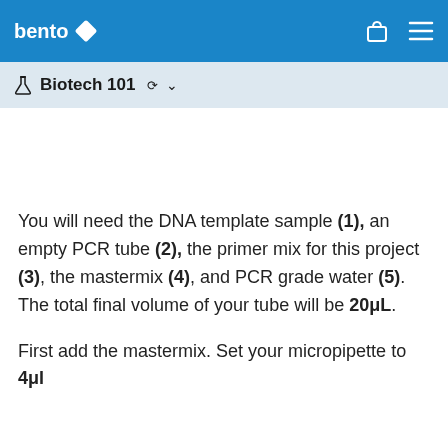bento [logo] | [bag icon] [menu icon]
🔬 Biotech 101 ▾
You will need the DNA template sample (1), an empty PCR tube (2), the primer mix for this project (3), the mastermix (4), and PCR grade water (5). The total final volume of your tube will be 20μL.
First add the mastermix. Set your micropipette to 4μl